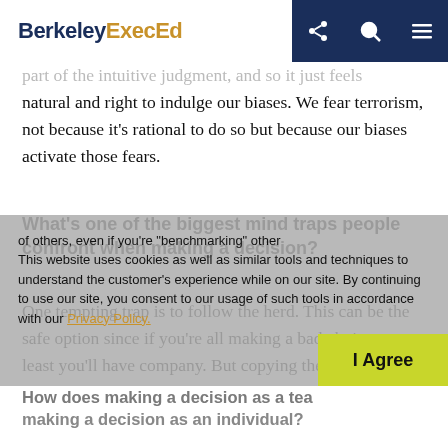BerkeleyExecEd [share] [search] [menu]
part of the intuitive judgment, and so it just feels natural and right to indulge our biases. We fear terrorism, not because it's rational to do so but because our biases activate those fears.
What’s one of the biggest mind traps people confront when making a decision?
One tempting trap is to follow the herd. This can be the safe option since if you’re all making a bad choice at least you’ll have company. But copying the decisions of others, even if you’re “benchmarking” other successful companies, usually doesn’t lead to great decisions.
This website uses cookies as well as similar tools and techniques to understand the customer’s experience while on our site. By continuing to use our site, you consent to our usage of such tools in accordance with our Privacy Policy.
How does making a decision as a team differ from making a decision as an individual?